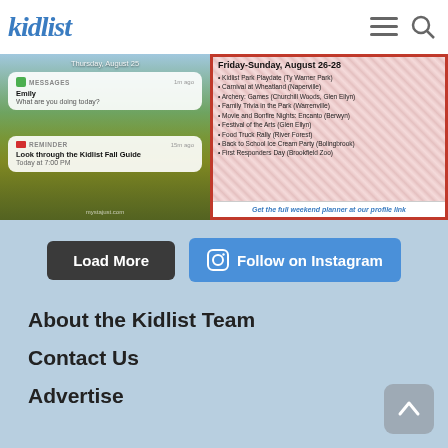kidlist
[Figure (screenshot): Two social media post images side by side: left shows a phone notification screenshot over a sunflower field with a Messages notification from Emily and a Reminder to look through the Kidlist Fall Guide; right shows a weekend event list for Friday-Sunday August 26-28 with multiple events listed on a red patterned background, ending with a link to get the full weekend planner.]
Load More
Follow on Instagram
About the Kidlist Team
Contact Us
Advertise